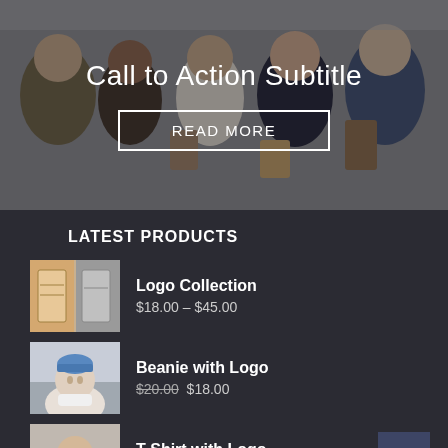[Figure (photo): Group of six people smiling and shopping together against a grey wall background, overlaid with dark semi-transparent overlay]
Call to Action Subtitle
READ MORE
LATEST PRODUCTS
[Figure (photo): Product thumbnail for Logo Collection showing branded merchandise]
Logo Collection
$18.00 – $45.00
[Figure (photo): Product thumbnail for Beanie with Logo showing a child wearing a blue beanie]
Beanie with Logo
$20.00  $18.00
[Figure (photo): Product thumbnail for T-Shirt with Logo showing a woman in a graphic tee]
T-Shirt with Logo
$18.00